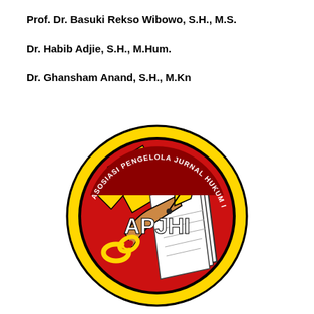Prof. Dr. Basuki Rekso Wibowo, S.H., M.S.
Dr. Habib Adjie, S.H., M.Hum.
Dr. Ghansham Anand, S.H., M.Kn
[Figure (logo): APJHI logo - Asosiasi Pengelola Jurnal Hukum Indonesia. Circular logo with yellow outer ring, red inner circle, featuring a hand holding a pen writing on paper, with a chain link on the left side, and the acronym APJHI in white text across the center.]